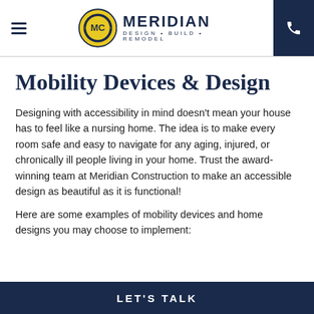[Figure (logo): Meridian Construction logo with circular yellow badge and company name 'MERIDIAN DESIGN • BUILD • REMODEL']
Mobility Devices & Design
Designing with accessibility in mind doesn't mean your house has to feel like a nursing home. The idea is to make every room safe and easy to navigate for any aging, injured, or chronically ill people living in your home. Trust the award-winning team at Meridian Construction to make an accessible design as beautiful as it is functional!
Here are some examples of mobility devices and home designs you may choose to implement:
LET'S TALK